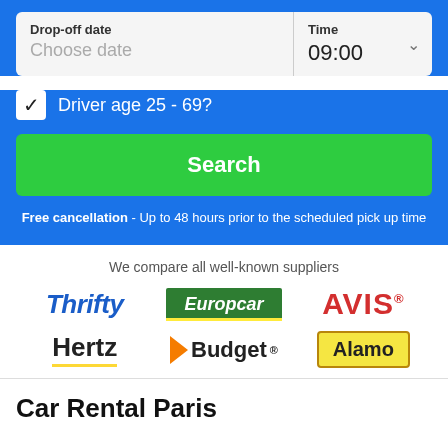Drop-off date
Choose date
Time
09:00
Driver age 25 - 69?
Search
Free cancellation - Up to 48 hours prior to the scheduled pick up time
We compare all well-known suppliers
[Figure (logo): Thrifty car rental logo in blue italic bold text]
[Figure (logo): Europcar logo in white italic text on green background with yellow underline]
[Figure (logo): AVIS logo in red bold text]
[Figure (logo): Hertz logo in bold black text with yellow underline]
[Figure (logo): Budget logo with orange arrow and bold text]
[Figure (logo): Alamo logo in yellow box with dark border]
Car Rental Paris